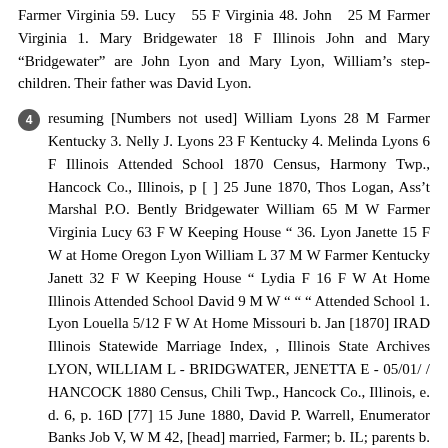Farmer Virginia 59. Lucy   55 F Virginia 48. John   25 M Farmer Virginia 1. Mary Bridgewater 18 F Illinois John and Mary "Bridgewater" are John Lyon and Mary Lyon, William's step-children. Their father was David Lyon.
4  resuming [Numbers not used] William Lyons 28 M Farmer Kentucky 3. Nelly J. Lyons 23 F Kentucky 4. Melinda Lyons 6 F Illinois Attended School 1870 Census, Harmony Twp., Hancock Co., Illinois, p [ ] 25 June 1870, Thos Logan, Ass't Marshal P.O. Bently Bridgewater William 65 M W Farmer Virginia Lucy 63 F W Keeping House " 36. Lyon Janette 15 F W at Home Oregon Lyon William L 37 M W Farmer Kentucky Janett 32 F W Keeping House " Lydia F 16 F W At Home Illinois Attended School David 9 M W " " " Attended School 1. Lyon Louella 5/12 F W At Home Missouri b. Jan [1870] IRAD Illinois Statewide Marriage Index, , Illinois State Archives LYON, WILLIAM L - BRIDGWATER, JENETTA E - 05/01/ / HANCOCK 1880 Census, Chili Twp., Hancock Co., Illinois, e. d. 6, p. 16D [77] 15 June 1880, David P. Warrell, Enumerator Banks Job V, W M 42, [head] married, Farmer; b. IL; parents b. KY Mary A, W F 38, Wife, married, Keeping House; b. IL; parents b. KY [sic] Susan, W F 11, Daughter, single, at School; b. IL,